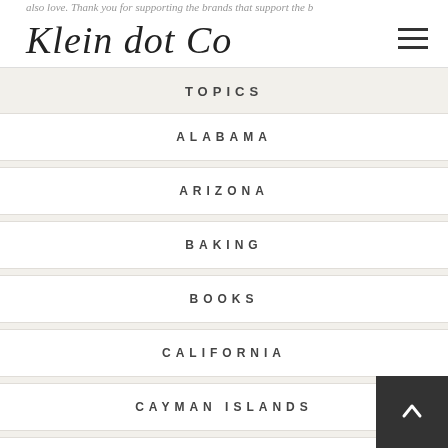also love. Thank you for supporting the brands that support the b…
Klein dot Co
TOPICS
ALABAMA
ARIZONA
BAKING
BOOKS
CALIFORNIA
CAYMAN ISLANDS
CHRISTMAS